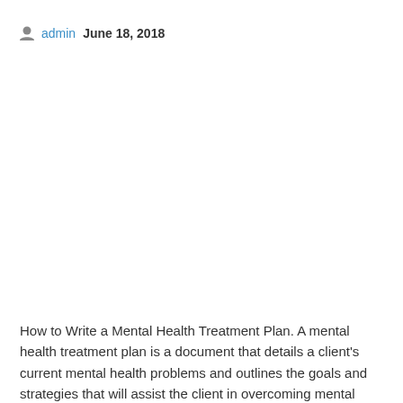admin   June 18, 2018
How to Write a Mental Health Treatment Plan. A mental health treatment plan is a document that details a client's current mental health problems and outlines the goals and strategies that will assist the client in overcoming mental health 05/11/2017 APL 17-008 (PDF)